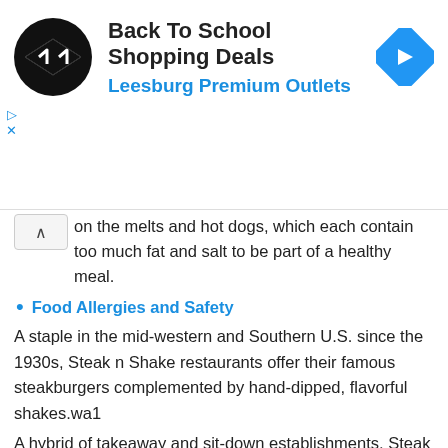[Figure (infographic): Advertisement banner for Back To School Shopping Deals at Leesburg Premium Outlets with logo, title, subtitle, and navigation arrow icon]
on the melts and hot dogs, which each contain too much fat and salt to be part of a healthy meal.
Food Allergies and Safety
A staple in the mid-western and Southern U.S. since the 1930s, Steak n Shake restaurants offer their famous steakburgers complemented by hand-dipped, flavorful shakes.wa1
A hybrid of takeaway and sit-down establishments, Steak n Shake caters to diners looking for a quick lunch and those longing to catch up with family and friends over a slow meal of tasty burgers and ice cream. A number of the locations